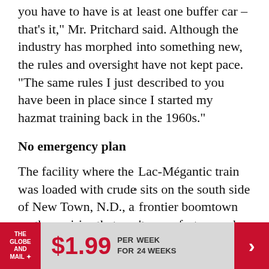you have to have is at least one buffer car – that's it," Mr. Pritchard said. Although the industry has morphed into something new, the rules and oversight have not kept pace. "The same rules I just described to you have been in place since I started my hazmat training back in the 1960s."
No emergency plan
The facility where the Lac-Mégantic train was loaded with crude sits on the south side of New Town, N.D., a frontier boomtown on the prairies that can't grow fast enough to supply sufficient hotels and restaurants to accommodate the influx of rig workers.
[Figure (infographic): Advertisement banner for The Globe and Mail: $1.99 per week for 24 weeks, with red logo and arrow button.]